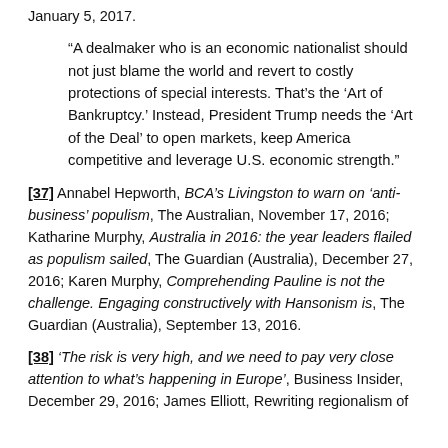January 5, 2017.
“A dealmaker who is an economic nationalist should not just blame the world and revert to costly protections of special interests. That’s the ‘Art of Bankruptcy.’ Instead, President Trump needs the ‘Art of the Deal’ to open markets, keep America competitive and leverage U.S. economic strength.”
[37] Annabel Hepworth, BCA’s Livingston to warn on ‘anti-business’ populism, The Australian, November 17, 2016; Katharine Murphy, Australia in 2016: the year leaders flailed as populism sailed, The Guardian (Australia), December 27, 2016; Karen Murphy, Comprehending Pauline is not the challenge. Engaging constructively with Hansonism is, The Guardian (Australia), September 13, 2016.
[38] ‘The risk is very high, and we need to pay very close attention to what’s happening in Europe’, Business Insider, December 29, 2016; James Elliott, Rewriting regionalism of...